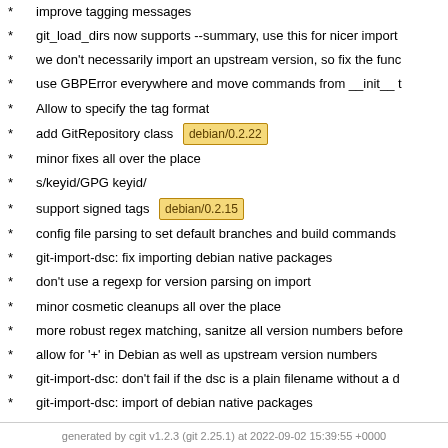improve tagging messages
git_load_dirs now supports --summary, use this for nicer import
we don't necessarily import an upstream version, so fix the func
use GBPError everywhere and move commands from __init__ t
Allow to specify the tag format
add GitRepository class debian/0.2.22
minor fixes all over the place
s/keyid/GPG keyid/
support signed tags debian/0.2.15
config file parsing to set default branches and build commands
git-import-dsc: fix importing debian native packages
don't use a regexp for version parsing on import
minor cosmetic cleanups all over the place
more robust regex matching, sanitze all version numbers before
allow for '+' in Debian as well as upstream version numbers
git-import-dsc: don't fail if the dsc is a plain filename without a d
git-import-dsc: import of debian native packages
add TODO
try harder to find the unpacked source dir
add debian packaging
first version
generated by cgit v1.2.3 (git 2.25.1) at 2022-09-02 15:39:55 +0000